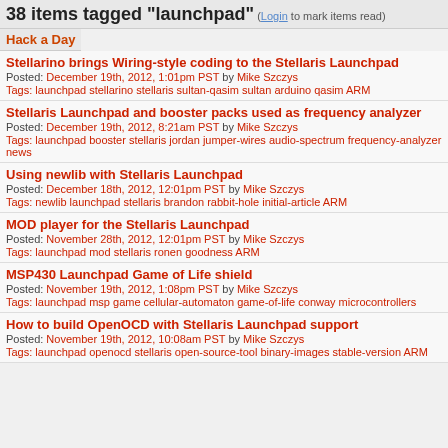38 items tagged "launchpad"
(Login to mark items read)
Hack a Day
Stellarino brings Wiring-style coding to the Stellaris Launchpad
Posted: December 19th, 2012, 1:01pm PST by Mike Szczys
Tags: launchpad stellarino stellaris sultan-qasim sultan arduino qasim ARM
Stellaris Launchpad and booster packs used as frequency analyzer
Posted: December 19th, 2012, 8:21am PST by Mike Szczys
Tags: launchpad booster stellaris jordan jumper-wires audio-spectrum frequency-analyzer news
Using newlib with Stellaris Launchpad
Posted: December 18th, 2012, 12:01pm PST by Mike Szczys
Tags: newlib launchpad stellaris brandon rabbit-hole initial-article ARM
MOD player for the Stellaris Launchpad
Posted: November 28th, 2012, 12:01pm PST by Mike Szczys
Tags: launchpad mod stellaris ronen goodness ARM
MSP430 Launchpad Game of Life shield
Posted: November 19th, 2012, 1:08pm PST by Mike Szczys
Tags: launchpad msp game cellular-automaton game-of-life conway microcontrollers
How to build OpenOCD with Stellaris Launchpad support
Posted: November 19th, 2012, 10:08am PST by Mike Szczys
Tags: launchpad openocd stellaris open-source-tool binary-images stable-version ARM